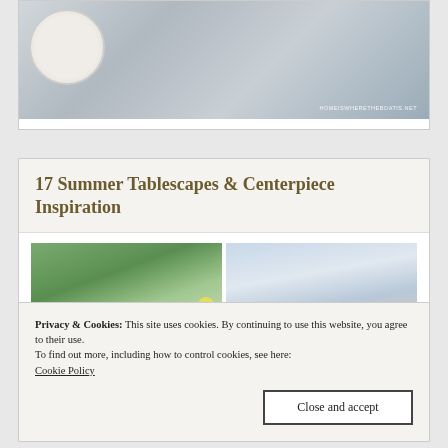[Figure (photo): Top portion of a decorative white butterfly plate or stepping stone with garden/outdoor background]
17 Summer Tablescapes & Centerpiece Inspiration
[Figure (photo): Two side-by-side outdoor photos: white hydrangea flowers on left, lake/water scene with flag decoration on right]
Privacy & Cookies: This site uses cookies. By continuing to use this website, you agree to their use.
To find out more, including how to control cookies, see here:
Cookie Policy
Close and accept